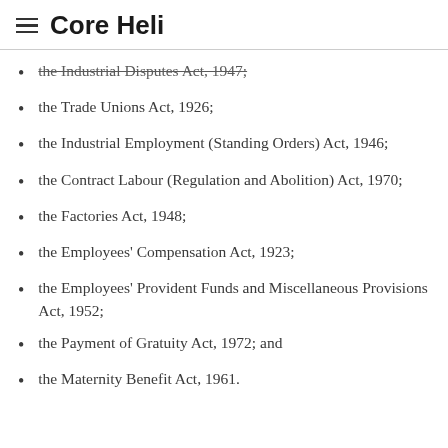Core Heli
the Industrial Disputes Act, 1947;
the Trade Unions Act, 1926;
the Industrial Employment (Standing Orders) Act, 1946;
the Contract Labour (Regulation and Abolition) Act, 1970;
the Factories Act, 1948;
the Employees' Compensation Act, 1923;
the Employees' Provident Funds and Miscellaneous Provisions Act, 1952;
the Payment of Gratuity Act, 1972; and
the Maternity Benefit Act, 1961.